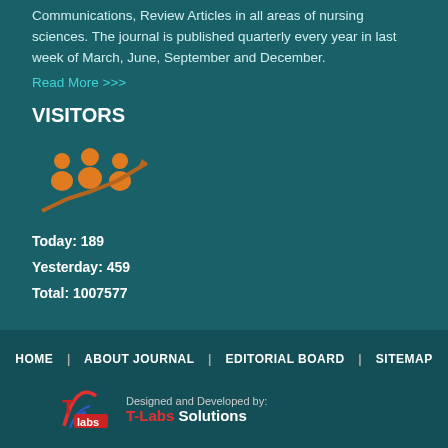Communications, Review Articles in all areas of nursing sciences. The journal is published quarterly every year in last week of March, June, September and December.
Read More >>>
VISITORS
[Figure (infographic): Orange icon of three people with upward trending arrow, representing visitor growth]
Today: 189
Yesterday: 459
Total: 1007577
HOME  |  ABOUT JOURNAL  |  EDITORIAL BOARD  |  SITEMAP
Designed and Developed by: T-Labs Solutions